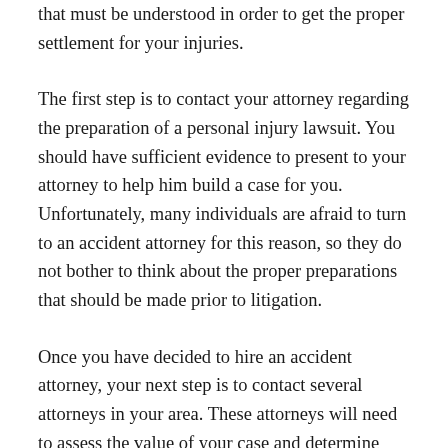that must be understood in order to get the proper settlement for your injuries.
The first step is to contact your attorney regarding the preparation of a personal injury lawsuit. You should have sufficient evidence to present to your attorney to help him build a case for you. Unfortunately, many individuals are afraid to turn to an accident attorney for this reason, so they do not bother to think about the proper preparations that should be made prior to litigation.
Once you have decided to hire an accident attorney, your next step is to contact several attorneys in your area. These attorneys will need to assess the value of your case and determine whether or not you should proceed with a case. A New York accident attorney will also need to review your facts and pleadings with a medical professional. A good New York